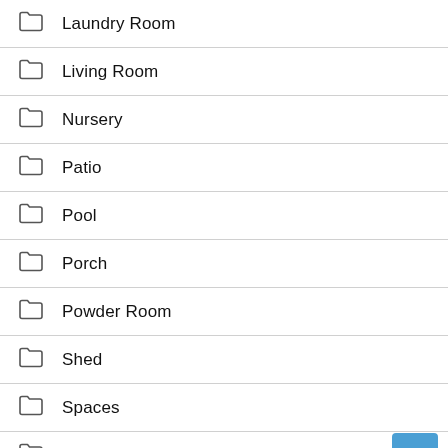Laundry Room
Living Room
Nursery
Patio
Pool
Porch
Powder Room
Shed
Spaces
Staircase
Sunroom